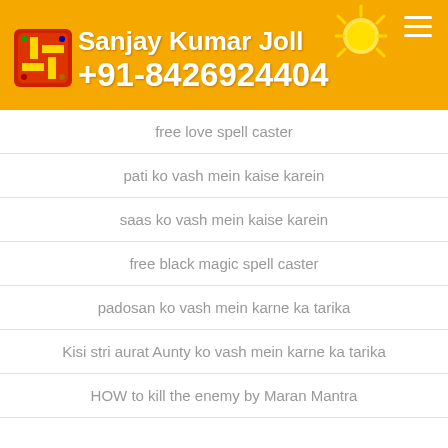Sanjay Kumar Joll +91-8426924404
free love spell caster
pati ko vash mein kaise karein
saas ko vash mein kaise karein
free black magic spell caster
padosan ko vash mein karne ka tarika
Kisi stri aurat Aunty ko vash mein karne ka tarika
HOW to kill the enemy by Maran Mantra